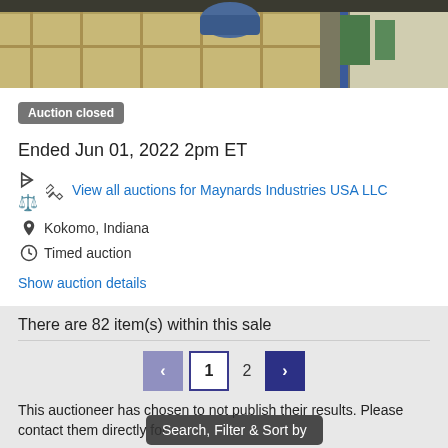[Figure (photo): Warehouse/industrial scene with wooden crates and green equipment in background]
Auction closed
Ended Jun 01, 2022 2pm ET
View all auctions for Maynards Industries USA LLC
Kokomo, Indiana
Timed auction
Show auction details
There are 82 item(s) within this sale
1  2
This auctioneer has chosen to not publish their results. Please contact them directly for
Search, Filter & Sort by
[Figure (photo): Partial orange text sign visible at bottom of page]